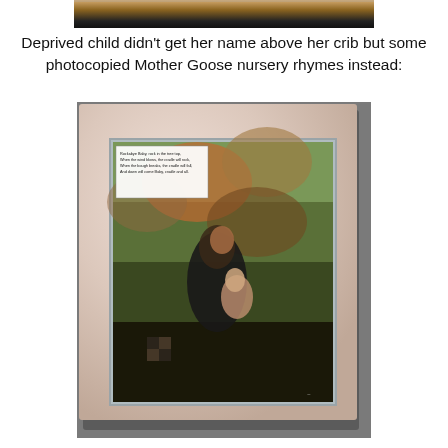[Figure (photo): Partial top photo showing a table or wooden surface with dark background, cropped at top of page]
Deprived child didn't get her name above her crib but some photocopied Mother Goose nursery rhymes instead:
[Figure (photo): A white picture frame containing a vintage Mother Goose nursery rhyme illustration with a small text box at the top left, showing a figure in nature setting. The frame is placed on a gray surface.]